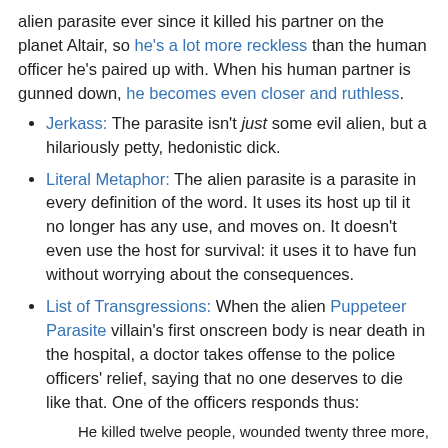alien parasite ever since it killed his partner on the planet Altair, so he's a lot more reckless than the human officer he's paired up with. When his human partner is gunned down, he becomes even closer and ruthless.
Jerkass: The parasite isn't just some evil alien, but a hilariously petty, hedonistic dick.
Literal Metaphor: The alien parasite is a parasite in every definition of the word. It uses its host up til it no longer has any use, and moves on. It doesn't even use the host for survival: it uses it to have fun without worrying about the consequences.
List of Transgressions: When the alien Puppeteer Parasite villain's first onscreen body is near death in the hospital, a doctor takes offense to the police officers' relief, saying that no one deserves to die like that. One of the officers responds thus:
He killed twelve people, wounded twenty three more, stole six cars, most of them Ferraris. Robbed eight banks, six